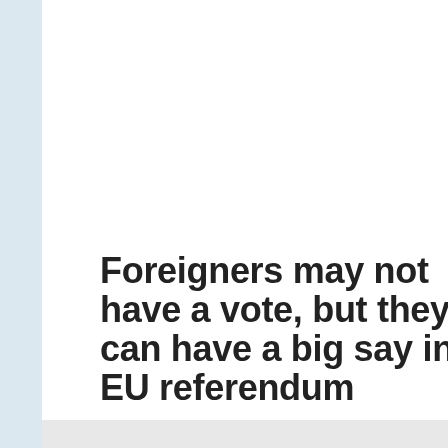[Figure (other): Gray placeholder image area with a hamburger/menu icon (four horizontal lines) centered in the upper portion]
Foreigners may not have a vote, but they can have a big say in EU referendum
April 20, 2016